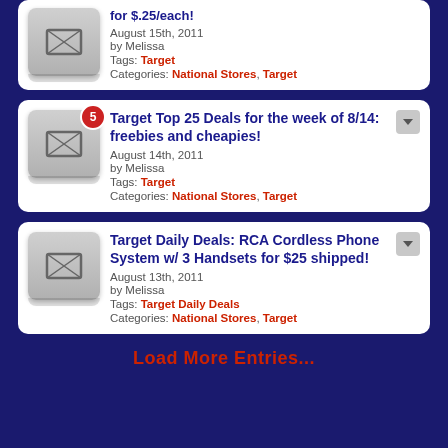for $.25/each! August 15th, 2011 by Melissa Tags: Target Categories: National Stores, Target
Target Top 25 Deals for the week of 8/14: freebies and cheapies! August 14th, 2011 by Melissa Tags: Target Categories: National Stores, Target
Target Daily Deals: RCA Cordless Phone System w/ 3 Handsets for $25 shipped! August 13th, 2011 by Melissa Tags: Target Daily Deals Categories: National Stores, Target
Load More Entries...